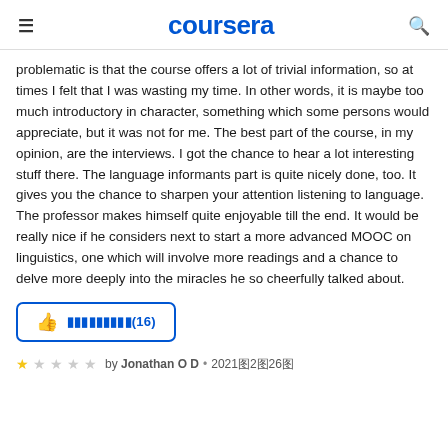coursera
problematic is that the course offers a lot of trivial information, so at times I felt that I was wasting my time. In other words, it is maybe too much introductory in character, something which some persons would appreciate, but it was not for me. The best part of the course, in my opinion, are the interviews. I got the chance to hear a lot interesting stuff there. The language informants part is quite nicely done, too. It gives you the chance to sharpen your attention listening to language. The professor makes himself quite enjoyable till the end. It would be really nice if he considers next to start a more advanced MOOC on linguistics, one which will involve more readings and a chance to delve more deeply into the miracles he so cheerfully talked about.
👍 👍👍👍👍👍👍👍👍(16)
by Jonathan O D • 2021年2月26日